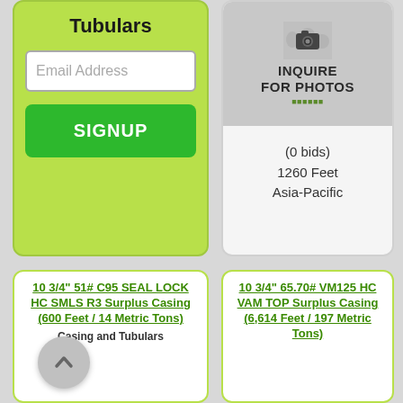Tubulars
Email Address
SIGNUP
[Figure (photo): Camera icon with 'INQUIRE FOR PHOTOS' text on grey background]
(0 bids)
1260 Feet
Asia-Pacific
10 3/4" 51# C95 SEAL LOCK HC SMLS R3 Surplus Casing (600 Feet / 14 Metric Tons)
Casing and Tubulars
10 3/4" 65.70# VM125 HC VAM TOP Surplus Casing (6,614 Feet / 197 Metric Tons)